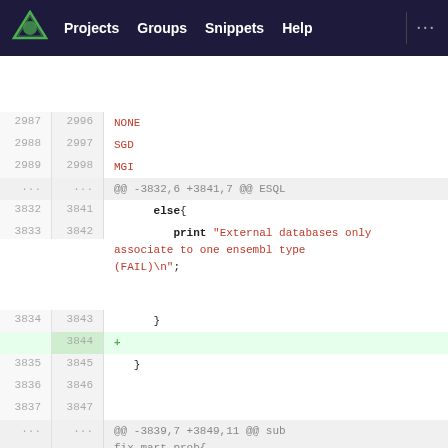Projects  Groups  Snippets  Help  ...
[Figure (screenshot): GitLab code diff view showing Perl code changes. Lines 2987-2989 show NONE/SGD/MGI additions. A hunk header at lines 3832/3841 shows @@ -3832,6 +3841,7 @@ ESQL. Changes include an else block with a print statement for error message, a closing brace, an added blank line (3844/+), closing brace at 3835/3845. Another hunk at 3839/3849 shows @@ -3839,7 +3849,11 @@ sub fix_mart_prob{ with my ($self,$db_name,$db_id,$type1,$type2) = @_; and my $ensembl_dbc = $self->core->dbc; code.]